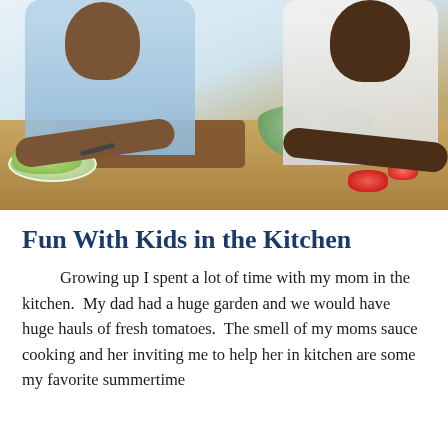[Figure (photo): Two people, likely a child and an adult, cooking together in a kitchen. They are preparing a salad with tomatoes, lettuce, and other vegetables on a wooden cutting board. A green salad bowl is visible on the counter.]
Fun With Kids in the Kitchen
Growing up I spent a lot of time with my mom in the kitchen.  My dad had a huge garden and we would have huge hauls of fresh tomatoes.  The smell of my moms sauce cooking and her inviting me to help her in kitchen are some my favorite summertime